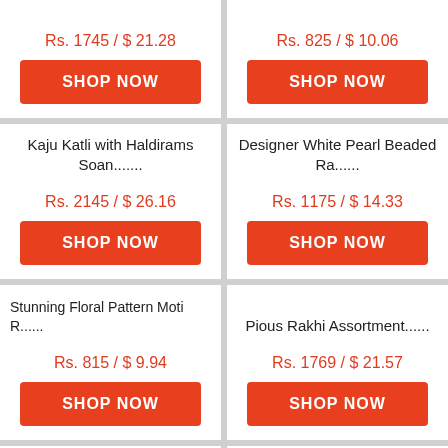Rs. 1745 / $ 21.28
SHOP NOW
Rs. 825 / $ 10.06
SHOP NOW
Kaju Katli with Haldirams Soan.......
Rs. 2145 / $ 26.16
SHOP NOW
Designer White Pearl Beaded Ra......
Rs. 1175 / $ 14.33
SHOP NOW
Stunning Floral Pattern Moti R......
Rs. 815 / $ 9.94
SHOP NOW
Pious Rakhi Assortment......
Rs. 1769 / $ 21.57
SHOP NOW